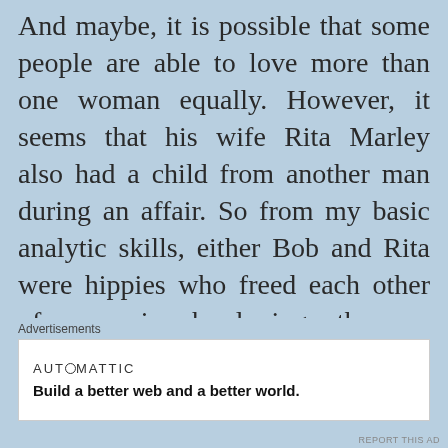And maybe, it is possible that some people are able to love more than one woman equally. However, it seems that his wife Rita Marley also had a child from another man during an affair. So from my basic analytic skills, either Bob and Rita were hippies who freed each other of possession by loving others or they just had the same marital problems that most people have. Either way, I am sure they had love for one another. And Bob
Advertisements
[Figure (other): Automattic advertisement banner: 'Build a better web and a better world.']